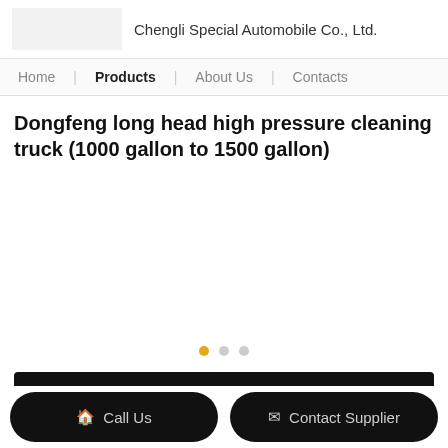Chengli Special Automobile Co., Ltd.
Home | Products | About Us | Contacts
Dongfeng long head high pressure cleaning truck (1000 gallon to 1500 gallon)
[Figure (photo): Product image area with carousel dots (orange, grey, grey)]
Contact Supplier
Product Details
Call Us
Contact Supplier